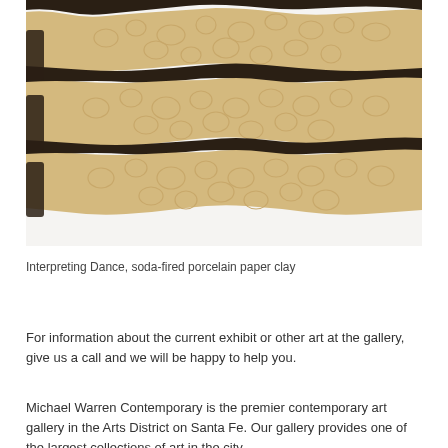[Figure (photo): Artwork titled 'Interpreting Dance' made of soda-fired porcelain paper clay. Shows wavy horizontal bands of cream/tan colored textured ceramic material with dark brown fibrous edges, arranged in three flowing wave-like strips against a white background.]
Interpreting Dance, soda-fired porcelain paper clay
For information about the current exhibit or other art at the gallery, give us a call and we will be happy to help you.
Michael Warren Contemporary is the premier contemporary art gallery in the Arts District on Santa Fe. Our gallery provides one of the largest collections of art in the city.